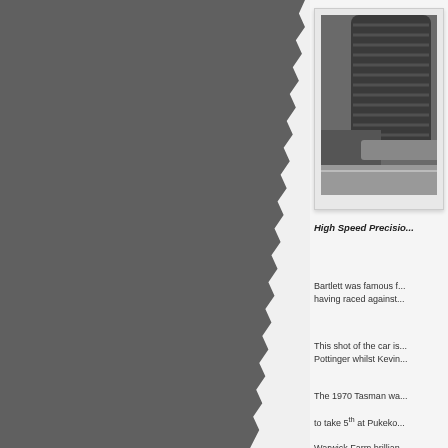[Figure (photo): Black and white photograph of a Formula racing car, showing wheel and tire detail, cropped at right edge of page]
High Speed Precisio...
Bartlett was famous f... having raced against...
This shot of the car is... Pottinger whilst Kevin...
The 1970 Tasman wa... to take 5th at Pukeko... Warwick Farm brillian...